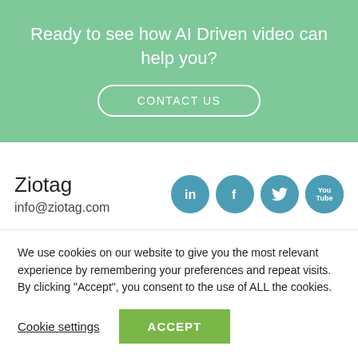Ready to see how AI Driven video can help you?
CONTACT US
Ziotag
info@ziotag.com
[Figure (illustration): Social media icons: LinkedIn, Facebook, Twitter, YouTube — circular teal buttons]
We use cookies on our website to give you the most relevant experience by remembering your preferences and repeat visits. By clicking “Accept”, you consent to the use of ALL the cookies.
Cookie settings
ACCEPT